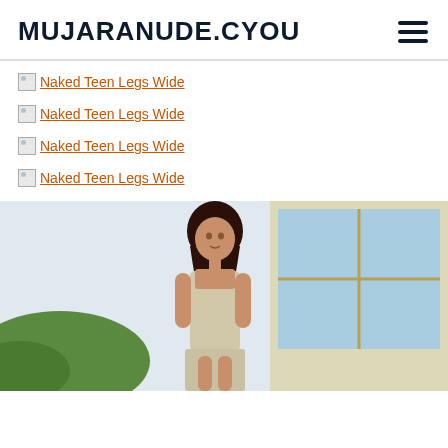MUJARANUDE.CYOU
Naked Teen Legs Wide
Naked Teen Legs Wide
Naked Teen Legs Wide
Naked Teen Legs Wide
[Figure (photo): Person standing outdoors in front of a window, photo partially visible at bottom of page]